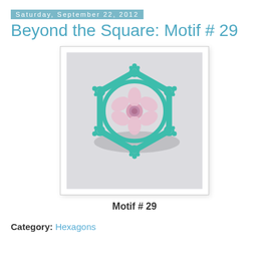Saturday, September 22, 2012
Beyond the Square: Motif # 29
[Figure (photo): A crocheted motif (Motif #29) featuring a pink flower center surrounded by a teal/turquoise hexagonal frame with decorative corner picots, photographed on a light gray/white background.]
Motif # 29
Category: Hexagons